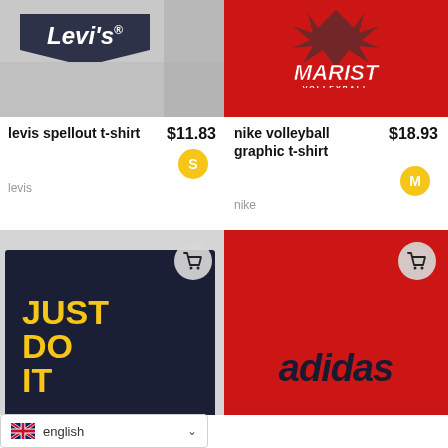[Figure (photo): Levi's spellout t-shirt product photo on model, gray shirt with dark navy bat-wing logo]
[Figure (photo): Marist Volleyball graphic t-shirt product photo on model, red shirt with Marist Volleyball logo]
levis spellout t-shirt
$11.83
S
levis
nike volleyball graphic t-shirt
$18.93
M
nike
[Figure (photo): Nike Just Do It graphic t-shirt product photo on model, navy shirt with yellow Just Do It text]
[Figure (photo): Adidas graphic t-shirt product photo on model, red shirt with adidas text]
english